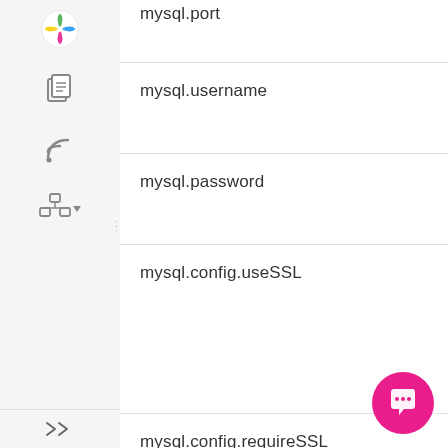[Figure (screenshot): Left sidebar with logo and navigation icons: colored pinwheel/sparkle logo at top, document/copy icon, RSS/feed icon, hierarchy/tree icon with dropdown arrow, and collapse arrows at bottom.]
mysql.port
mysql.username
mysql.password
mysql.config.useSSL
mysql.config.requireSSL